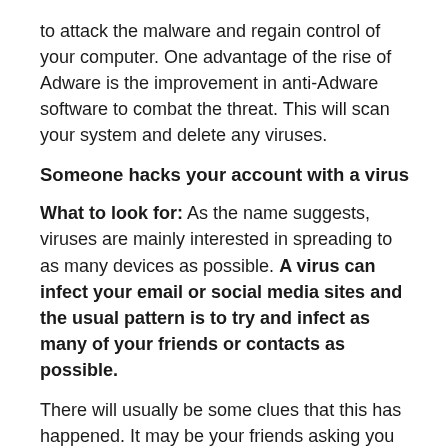to attack the malware and regain control of your computer. One advantage of the rise of Adware is the improvement in anti-Adware software to combat the threat. This will scan your system and delete any viruses.
Someone hacks your account with a virus
What to look for: As the name suggests, viruses are mainly interested in spreading to as many devices as possible. A virus can infect your email or social media sites and the usual pattern is to try and infect as many of your friends or contacts as possible.
There will usually be some clues that this has happened. It may be your friends asking you why you’re posting weight loss advice on your social media accounts—something that will usually raise alarm bells, unless you happen to be a weight loss professional.